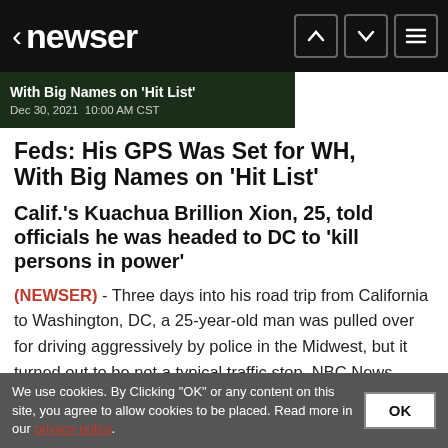newser
[Figure (screenshot): Dark green thumbnail with partial headline text 'With Big Names on Hit List' and date 'Dec 30, 2021 10:00 AM CST']
Feds: His GPS Was Set for WH, With Big Names on 'Hit List'
Calif.'s Kuachua Brillion Xion, 25, told officials he was headed to DC to 'kill persons in power'
(NEWSER) - Three days into his road trip from California to Washington, DC, a 25-year-old man was pulled over for driving aggressively by police in the Midwest, but it turned out to be not a typical traffic stop. NBC News reports Kuachua Brillion Xiong was pulled over Dec. 21 in Iowa's...
We use cookies. By Clicking "OK" or any content on this site, you agree to allow cookies to be placed. Read more in our privacy policy.